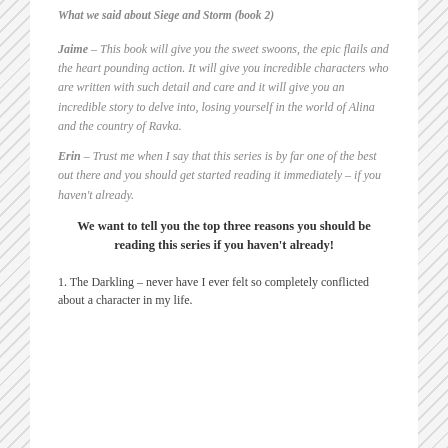What we said about Siege and Storm (book 2)
Jaime – This book will give you the sweet swoons, the epic flails and the heart pounding action. It will give you incredible characters who are written with such detail and care and it will give you an incredible story to delve into, losing yourself in the world of Alina and the country of Ravka.
Erin – Trust me when I say that this series is by far one of the best out there and you should get started reading it immediately – if you haven't already.
We want to tell you the top three reasons you should be reading this series if you haven't already!
1. The Darkling – never have I ever felt so completely conflicted about a character in my life.